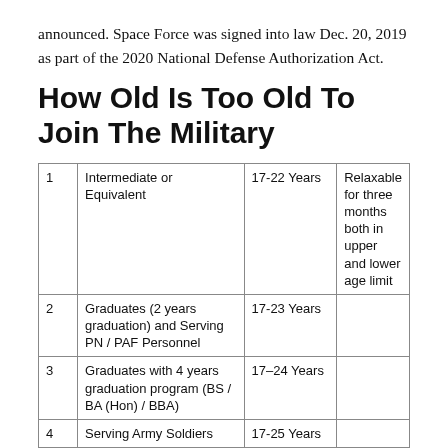announced. Space Force was signed into law Dec. 20, 2019 as part of the 2020 National Defense Authorization Act.
How Old Is Too Old To Join The Military
|  |  |  |  |
| --- | --- | --- | --- |
| 1 | Intermediate or Equivalent | 17-22 Years | Relaxable for three months both in upper and lower age limit |
| 2 | Graduates (2 years graduation) and Serving PN / PAF Personnel | 17-23 Years |  |
| 3 | Graduates with 4 years graduation program (BS / BA (Hon) / BBA) | 17–24 Years |  |
| 4 | Serving Army Soldiers | 17-25 Years |  |
Most people know you must be at least 17 years old